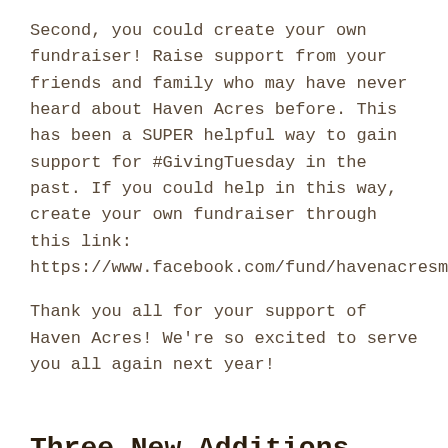Second, you could create your own fundraiser! Raise support from your friends and family who may have never heard about Haven Acres before. This has been a SUPER helpful way to gain support for #GivingTuesday in the past. If you could help in this way, create your own fundraiser through this link: https://www.facebook.com/fund/havenacresmn/.
Thank you all for your support of Haven Acres! We're so excited to serve you all again next year!
Three New Additions
November 20, 2019 / in Uncategorized / by Holly Janik
Within the last month we have added three new horses to our herd! While we weren't expecting to